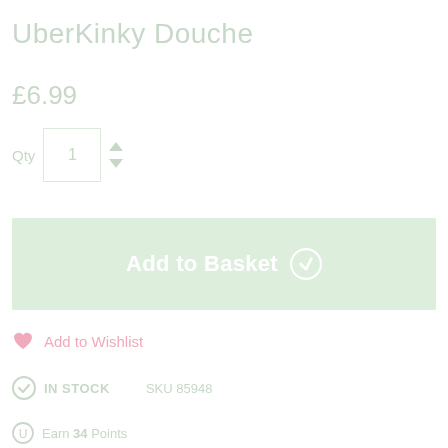UberKinky Douche
£6.99
Qty  1
Add to Basket
Add to Wishlist
IN STOCK   SKU 85948
Earn 34 Points
Key Features